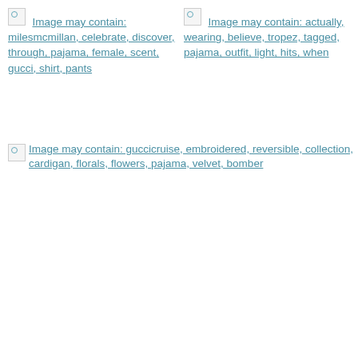[Figure (photo): Broken image placeholder with link text: Image may contain: milesmcmillan, celebrate, discover, through, pajama, female, scent, gucci, shirt, pants]
[Figure (photo): Broken image placeholder with link text: Image may contain: actually, wearing, believe, tropez, tagged, pajama, outfit, light, hits, when]
[Figure (photo): Broken image placeholder with link text: Image may contain: guccicruise, embroidered, reversible, collection, cardigan, florals, flowers, pajama, velvet, bomber]